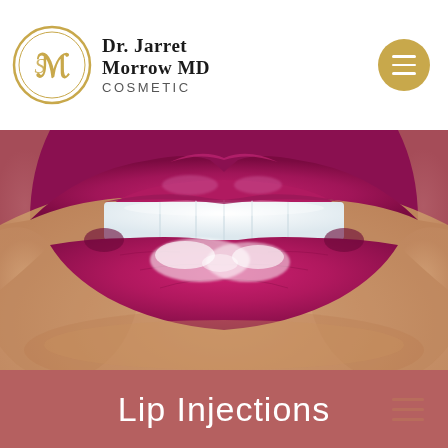Dr. Jarret Morrow MD Cosmetic
[Figure (photo): Close-up macro photo of glossy magenta/fuchsia lips with bright white teeth visible, with a light-catching gloss highlight on the lower lip. Skin below the lips is visible with a warm peachy-beige tone.]
Lip Injections